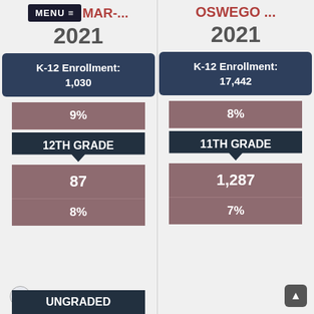MENU ≡  MAR-... | OSWEGO ...
2021
K-12 Enrollment: 1,030
9%
12TH GRADE
87
8%
UNGRADED
2021
K-12 Enrollment: 17,442
8%
11TH GRADE
1,287
7%